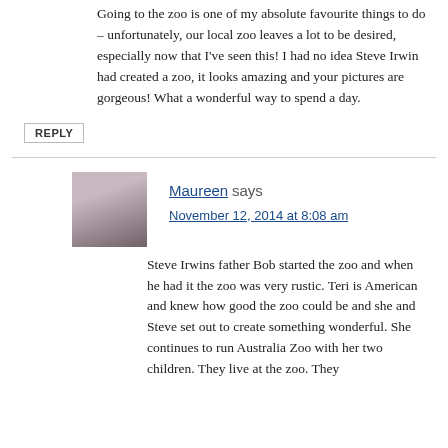Going to the zoo is one of my absolute favourite things to do – unfortunately, our local zoo leaves a lot to be desired, especially now that I've seen this! I had no idea Steve Irwin had created a zoo, it looks amazing and your pictures are gorgeous! What a wonderful way to spend a day.
REPLY
Maureen says
November 12, 2014 at 8:08 am
Steve Irwins father Bob started the zoo and when he had it the zoo was very rustic. Teri is American and knew how good the zoo could be and she and Steve set out to create something wonderful. She continues to run Australia Zoo with her two children. They live at the zoo. They